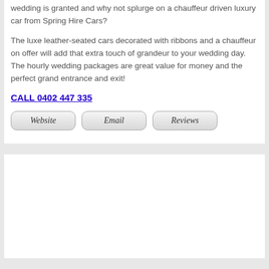wedding is granted and why not splurge on a chauffeur driven luxury car from Spring Hire Cars?
The luxe leather-seated cars decorated with ribbons and a chauffeur on offer will add that extra touch of grandeur to your wedding day. The hourly wedding packages are great value for money and the perfect grand entrance and exit!
CALL 0402 447 335
[Figure (other): Three rounded-rectangle buttons labeled Website, Email, Reviews]